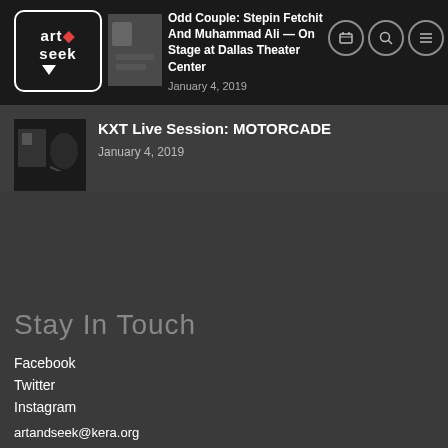art&seek logo / Odd Couple: Stepin Fetchit And Muhammad Ali — On Stage at Dallas Theater Center / January 4, 2019
KXT Live Session: MOTORCADE
January 4, 2019
Stay In Touch
Facebook
Twitter
Instagram
artandseek@kera.org